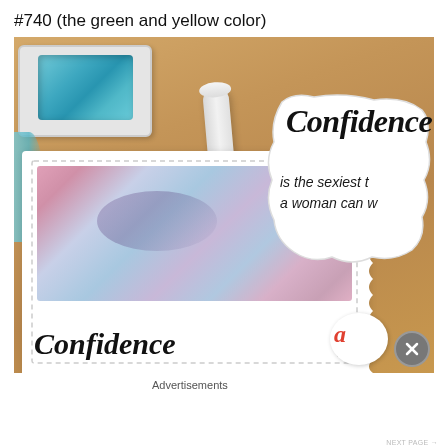#740 (the green and yellow color)
[Figure (photo): Craft/stamping supplies on a wooden surface: a blue ink pad, an embossing tool, a white scalloped-edge stamp card with watercolor background and 'Confidence' script text, and a die-cut sticker reading 'Confidence is the sexiest a woman can w...']
Advertisements
NEXT PAGE →